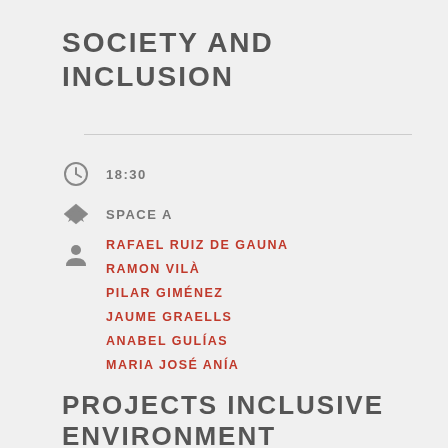SOCIETY AND INCLUSION
18:30
SPACE A
RAFAEL RUIZ DE GAUNA
RAMON VILÀ
PILAR GIMÉNEZ
JAUME GRAELLS
ANABEL GULÍAS
MARIA JOSÉ ANÍA
PROJECTS INCLUSIVE ENVIRONMENT